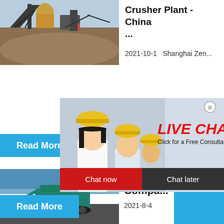[Figure (photo): Industrial crusher/mining plant site with heavy equipment and conveyor belts against a sky background]
Crusher Plant - China ...
2021-10-1   Shanghai Zen...
Read More
[Figure (photo): Live chat popup overlay with workers in yellow hard hats, LIVE CHAT text in red, and Chat now / Chat later buttons]
[Figure (photo): Right sidebar showing crusher machine image with 'hour online', 'Click me to chat>>', Enquiry, and limingjlmofen text]
[Figure (photo): Mobile crusher machine on construction site with blue sky background]
Shangh... Compa...
2021-8-4
Read More